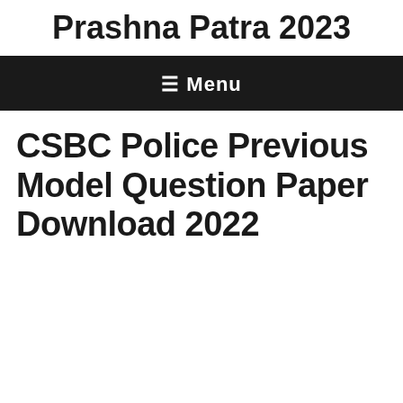Prashna Patra 2023
≡ Menu
CSBC Police Previous Model Question Paper Download 2022